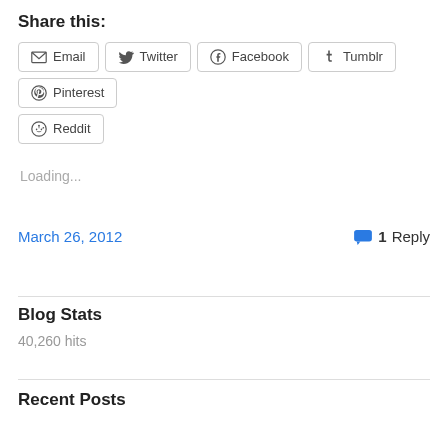Share this:
Email
Twitter
Facebook
Tumblr
Pinterest
Reddit
Loading...
March 26, 2012
1 Reply
Blog Stats
40,260 hits
Recent Posts